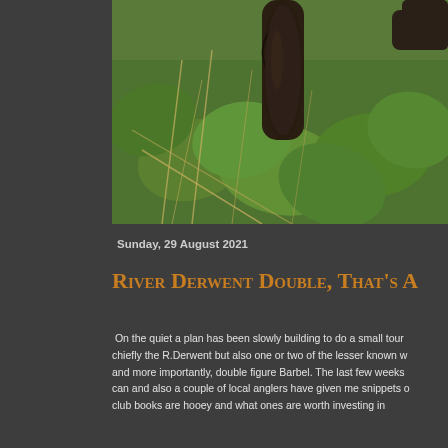[Figure (photo): A person holds up a fish (appears to be a Barbel) against a background of green leafy vegetation and dry grass. The fish is dark coloured, held vertically.]
Sunday, 29 August 2021
River Derwent Double, That's A...
On the quiet a plan has been slowly building to do a small tour chiefly the R.Derwent but also one or two of the lesser known w and more importantly, double figure Barbel. The last few weeks can and also a couple of local anglers have given me snippets o club books are hooey and what ones are worth investing in